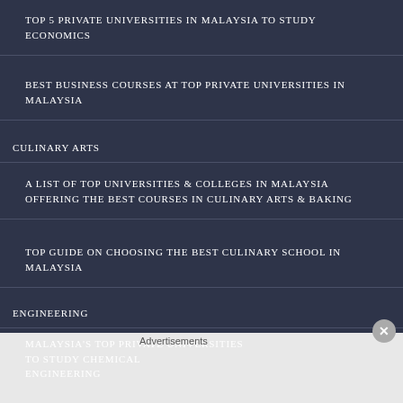TOP 5 PRIVATE UNIVERSITIES IN MALAYSIA TO STUDY ECONOMICS
BEST BUSINESS COURSES AT TOP PRIVATE UNIVERSITIES IN MALAYSIA
CULINARY ARTS
A LIST OF TOP UNIVERSITIES & COLLEGES IN MALAYSIA OFFERING THE BEST COURSES IN CULINARY ARTS & BAKING
TOP GUIDE ON CHOOSING THE BEST CULINARY SCHOOL IN MALAYSIA
ENGINEERING
MALAYSIA'S TOP PRIVATE UNIVERSITIES TO STUDY CHEMICAL ENGINEERING
Advertisements
[Figure (screenshot): DuckDuckGo advertisement banner: 'Search, browse, and email with more privacy. All in One Free App' on orange background with DuckDuckGo logo on black background]